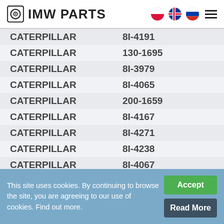IMW PARTS
| Brand | Part Number |
| --- | --- |
| CATERPILLAR | 8I-4191 |
| CATERPILLAR | 130-1695 |
| CATERPILLAR | 8I-3979 |
| CATERPILLAR | 8I-4065 |
| CATERPILLAR | 200-1659 |
| CATERPILLAR | 8I-4167 |
| CATERPILLAR | 8I-4271 |
| CATERPILLAR | 8I-4238 |
| CATERPILLAR | 8I-4067 |
| CATERPILLAR | 8I-4263 |
| CATERPILLAR | 8I-4262 |
| CATERPILLAR | 8I-4068 |
| CATERPILLAR | 993-3659 |
This site uses cookies. By continuing to browse the site, you are agreeing to our use of cookies. Find out more.